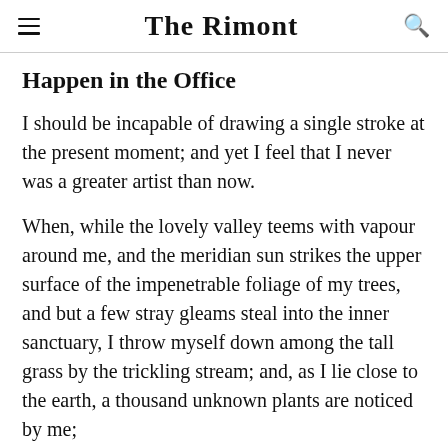The Rimont
Happen in the Office
I should be incapable of drawing a single stroke at the present moment; and yet I feel that I never was a greater artist than now.
When, while the lovely valley teems with vapour around me, and the meridian sun strikes the upper surface of the impenetrable foliage of my trees, and but a few stray gleams steal into the inner sanctuary, I throw myself down among the tall grass by the trickling stream; and, as I lie close to the earth, a thousand unknown plants are noticed by me;